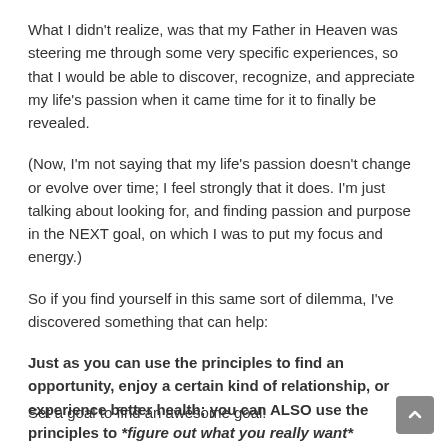What I didn’t realize, was that my Father in Heaven was steering me through some very specific experiences, so that I would be able to discover, recognize, and appreciate my life’s passion when it came time for it to finally be revealed.
(Now, I’m not saying that my life’s passion doesn’t change or evolve over time; I feel strongly that it does. I’m just talking about looking for, and finding passion and purpose in the NEXT goal, on which I was to put my focus and energy.)
So if you find yourself in this same sort of dilemma, I’ve discovered something that can help:
Just as you can use the principles to find an opportunity, enjoy a certain kind of relationship, or experience better health; you can ALSO use the principles to *figure out what you really want*
Set a goal to find an awesome goal!